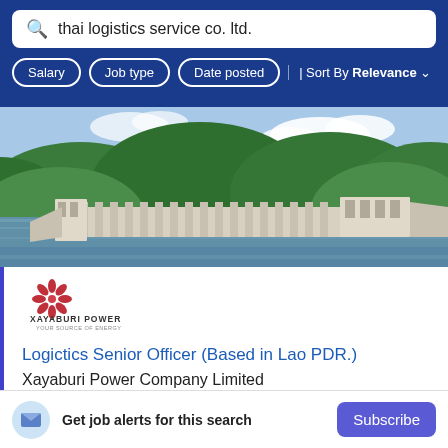thai logistics service co. ltd.
Salary
Job type
Date posted
Sort By Relevance
[Figure (photo): Aerial rendering of a large dam with hydroelectric infrastructure surrounded by green forested hills and a river.]
[Figure (logo): Xayaburi Power company logo - red starburst/flower design with text XAYABURI POWER and YOUR SOURCE OF ENERGY below.]
Logictics Senior Officer (Based in Lao PDR.)
Xayaburi Power Company Limited
Get job alerts for this search
Subscribe